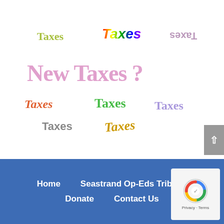[Figure (illustration): Word cloud/collage showing the word 'Taxes' repeated many times in different colors, fonts, sizes, and orientations, with a large central 'New Taxes?' text in pink]
Home   Seastrand Op-Eds Tribune   Donate   Contact Us